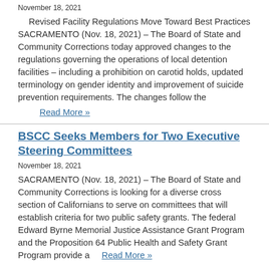November 18, 2021
Revised Facility Regulations Move Toward Best Practices SACRAMENTO (Nov. 18, 2021) – The Board of State and Community Corrections today approved changes to the regulations governing the operations of local detention facilities – including a prohibition on carotid holds, updated terminology on gender identity and improvement of suicide prevention requirements. The changes follow the
Read More »
BSCC Seeks Members for Two Executive Steering Committees
November 18, 2021
SACRAMENTO (Nov. 18, 2021) – The Board of State and Community Corrections is looking for a diverse cross section of Californians to serve on committees that will establish criteria for two public safety grants. The federal Edward Byrne Memorial Justice Assistance Grant Program and the Proposition 64 Public Health and Safety Grant Program provide a
Read More »